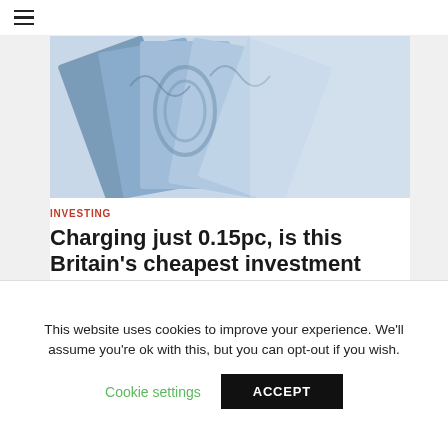[Figure (photo): Close-up photo of British pound banknotes fanned out, showing blue and white tones]
INVESTING
Charging just 0.15pc, is this Britain’s cheapest investment firm?
○ April 17, 2017  💬 Add Comment
This website uses cookies to improve your experience. We’ll assume you’re ok with this, but you can opt-out if you wish.
Cookie settings   ACCEPT